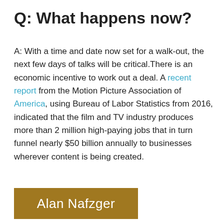Q: What happens now?
A: With a time and date now set for a walk-out, the next few days of talks will be critical.There is an economic incentive to work out a deal. A recent report from the Motion Picture Association of America, using Bureau of Labor Statistics from 2016, indicated that the film and TV industry produces more than 2 million high-paying jobs that in turn funnel nearly $50 billion annually to businesses wherever content is being created.
[Figure (other): Author name badge: Alan Nafzger on a brown/gold background]